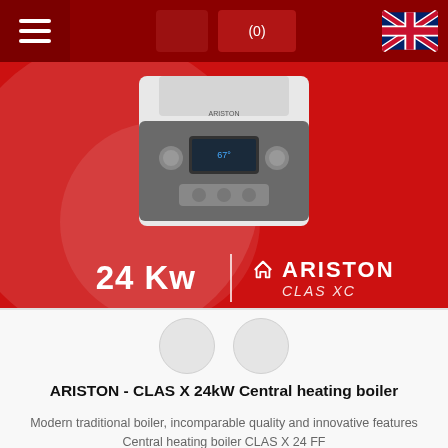(0)
[Figure (photo): Ariston CLAS XC 24kW central heating boiler shown on a red background with the text '24 Kw' and 'ARISTON CLAS XC' branding]
ARISTON - CLAS X 24kW Central heating boiler
Modern traditional boiler, incomparable quality and innovative features Central heating boiler CLAS X 24 FF
2757